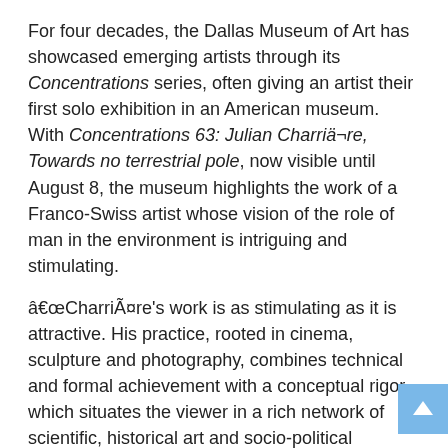For four decades, the Dallas Museum of Art has showcased emerging artists through its Concentrations series, often giving an artist their first solo exhibition in an American museum. With Concentrations 63: Julian Charrière, Towards no terrestrial pole, now visible until August 8, the museum highlights the work of a Franco-Swiss artist whose vision of the role of man in the environment is intriguing and stimulating.
"Charrière's work is as stimulating as it is attractive. His practice, rooted in cinema, sculpture and photography, combines technical and formal achievement with a conceptual rigor which situates the viewer in a rich network of scientific, historical art and socio-political references. Although his art takes us on a journey to the ends of the earth and through geological and historical time, the result is our heightened awareness of the interdependence and far-reaching impact of our actions in the world. here and now and on future generations," Dr. Anna Katherine Brodbeck, the museum's senior curator of contemporary art for the Hoffman family and curator of this